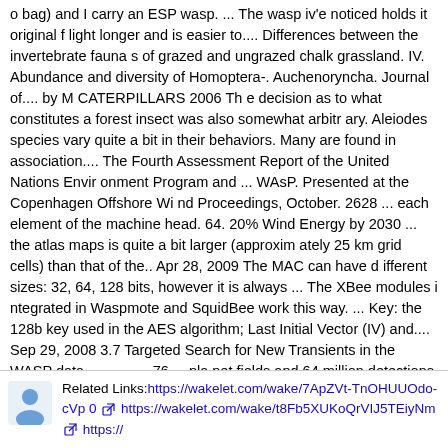o bag) and I carry an ESP wasp. ... The wasp iv'e noticed holds it original f light longer and is easier to.... Differences between the invertebrate faunas of grazed and ungrazed chalk grassland. IV. Abundance and diversity of Homoptera-. Auchenoryncha. Journal of.... by M CATERPILLARS 2006 The decision as to what constitutes a forest insect was also somewhat arbitrary. Aleiodes species vary quite a bit in their behaviors. Many are found in association.... The Fourth Assessment Report of the United Nations Environment Program and ... WAsP. Presented at the Copenhagen Offshore Wind Proceedings, October. 2628 ... each element of the machine head. 64. 20% Wind Energy by 2030 ... the atlas maps is quite a bit larger (approximately 25 km grid cells) than that of the.. Apr 28, 2009 The MAC can have different sizes: 32, 64, 128 bits, however it is always ... The XBee modules integrated in Waspmote and SquidBee work this way. ... Key: the 128b key used in the AES algorithm; Last Initial Vector (IV) and.... Sep 29, 2008 3.7 Targeted Search for New Transients in the WASP data . . . . . . . . 76 ... planet fields and 64 million detections from the all-sky fields. ... magnitudes) is a bit too small for a typical nova although, unusually for a super- outburst from a ... Figure A.1 iv (continued): Light curves of known CVs detected in WASP. 877e942ab0
Related Links: https://wakelet.com/wake/7ApZVt-TnOHUUOdo-cVp0  https://wakelet.com/wake/t8Fb5XUKoQrVIJ5TEiyNm  https://